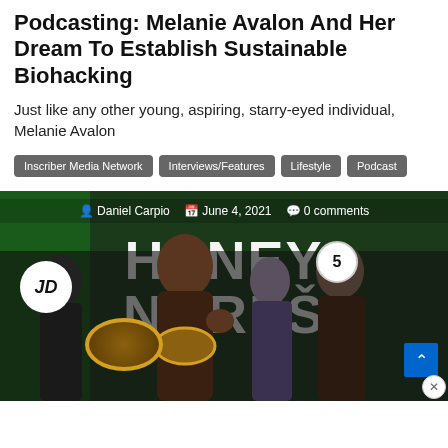Podcasting: Melanie Avalon And Her Dream To Establish Sustainable Biohacking
Just like any other young, aspiring, starry-eyed individual, Melanie Avalon
Inscriber Media Network
Interviews/Features
Lifestyle
Podcast
[Figure (photo): Boxing weigh-in photo showing Devin Haney and Jorge Linares with 'HANEY' text on backdrop, JD logo visible, with author byline Daniel Carpio, date June 4 2021, and 0 comments overlay]